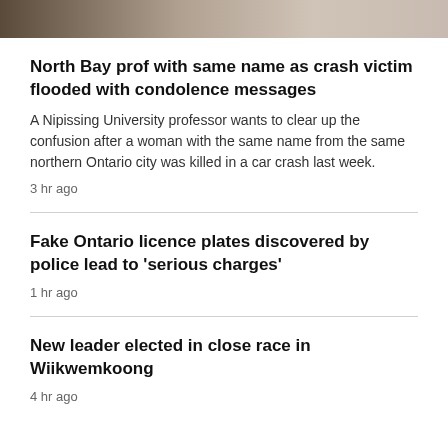[Figure (photo): Partial photo of a person, cropped at top of page]
North Bay prof with same name as crash victim flooded with condolence messages
A Nipissing University professor wants to clear up the confusion after a woman with the same name from the same northern Ontario city was killed in a car crash last week.
3 hr ago
Fake Ontario licence plates discovered by police lead to 'serious charges'
1 hr ago
New leader elected in close race in Wiikwemkoong
4 hr ago